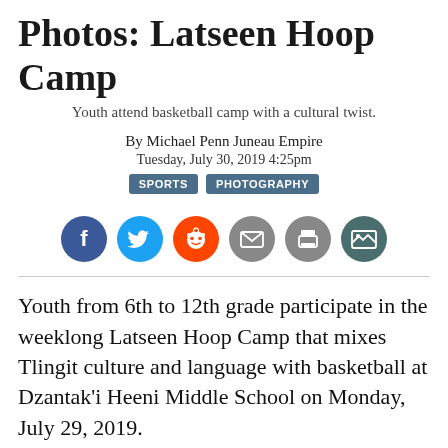Photos: Latseen Hoop Camp
Youth attend basketball camp with a cultural twist.
By Michael Penn Juneau Empire
Tuesday, July 30, 2019 4:25pm
SPORTS   PHOTOGRAPHY
[Figure (infographic): Social media sharing icons: Facebook (dark blue), Twitter (light blue), Reddit (orange), Email (gray), Print (gray), Image gallery (dark gray-green)]
Youth from 6th to 12th grade participate in the weeklong Latseen Hoop Camp that mixes Tlingit culture and language with basketball at Dzantak'i Heeni Middle School on Monday, July 29, 2019.